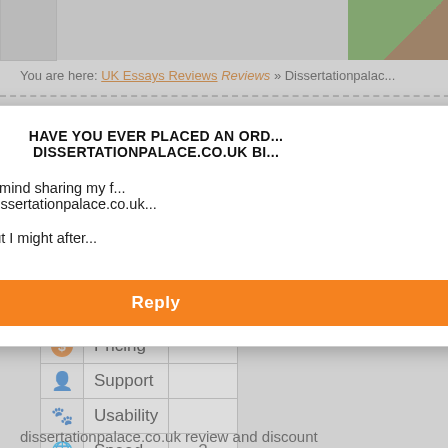You are here: UK Essays Reviews » Reviews » Dissertationpalace...
Disser...
|  | Category | Score |
| --- | --- | --- |
| ★ | Quality |  |
| $ | Pricing |  |
| 👤 | Support |  |
| 🐾 | Usability |  |
| 🌐 | Speed | 2 |
|  | Total | 2.8/10 |
dissertationpalace.co.uk review and discount
Description: For sloppy written paper you are charged as if you order...
Usability
The website is pleasing to the eye. There is a possibility to check som...
[Figure (screenshot): Modal dialog overlay asking 'HAVE YOU EVER PLACED AN ORDER... DISSERTATIONPALACE.CO.UK B...' with two radio button options: 'Yes, and I don't mind sharing my f... other users of Dissertationpalace.co.uk' and 'No, I haven't, but I might after... reviews about it.' with an orange Reply button.]